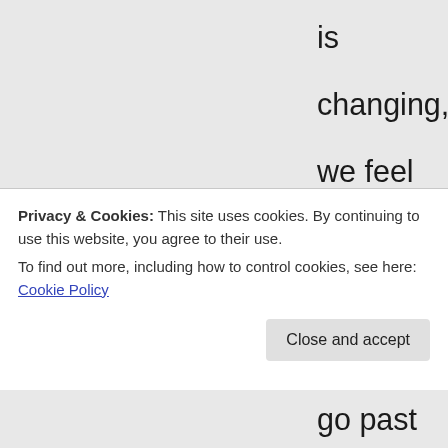is changing, we feel down and other days happy, like a roller coaster: up and down with our feelings, then we have things in us which we have not worked out properly, then our thoughts often drift back to the past, try to understand situations, rewind them again and again and feel sad and
Privacy & Cookies: This site uses cookies. By continuing to use this website, you agree to their use. To find out more, including how to control cookies, see here: Cookie Policy
go past things which we